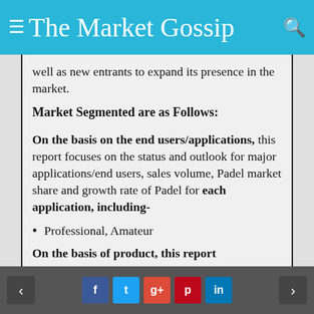The Market Gossip
well as new entrants to expand its presence in the market.
Market Segmented are as Follows:
On the basis on the end users/applications, this report focuses on the status and outlook for major applications/end users, sales volume, Padel market share and growth rate of Padel for each application, including-
Professional, Amateur
On the basis of product, this report